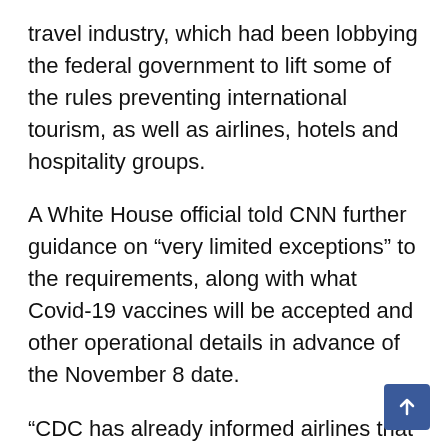travel industry, which had been lobbying the federal government to lift some of the rules preventing international tourism, as well as airlines, hotels and hospitality groups.
A White House official told CNN further guidance on “very limited exceptions” to the requirements, along with what Covid-19 vaccines will be accepted and other operational details in advance of the November 8 date.
“CDC has already informed airlines that all FDA approved and authorized vaccines, as well as all vaccines that have an Emergency Use Listing (EUL) from the WHO will be accepted for air travel. We anticipate the same will be true at the land border,